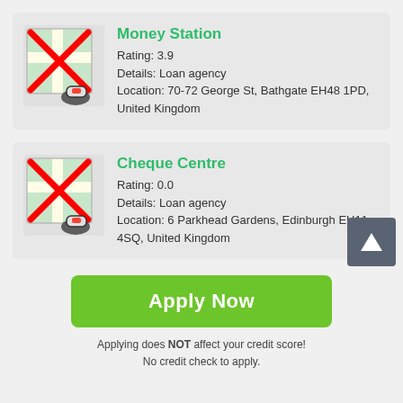[Figure (screenshot): Map icon with red X overlay and location pin for Money Station]
Money Station
Rating: 3.9
Details: Loan agency
Location: 70-72 George St, Bathgate EH48 1PD, United Kingdom
[Figure (screenshot): Map icon with red X overlay and location pin for Cheque Centre]
Cheque Centre
Rating: 0.0
Details: Loan agency
Location: 6 Parkhead Gardens, Edinburgh EH11 4SQ, United Kingdom
Apply Now
Applying does NOT affect your credit score!
No credit check to apply.